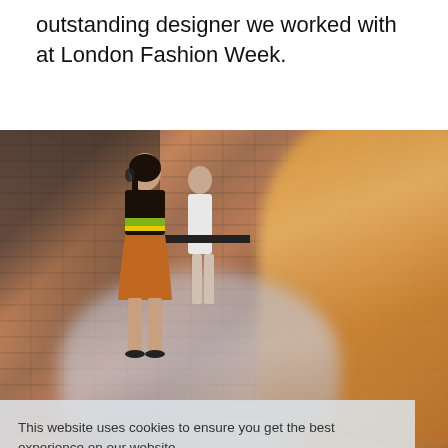outstanding designer we worked with at London Fashion Week.
[Figure (photo): Fashion photo showing a model wearing a striped top and rust-colored skirt standing in a brick-walled venue, with a blurred orange/amber garment in the foreground and another person in the background holding a camera.]
This website uses cookies to ensure you get the best experience on our website.
Learn more
Got it!